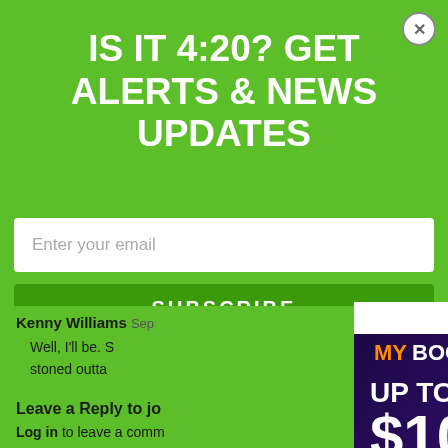IS IT 4:20? GET ALERTS & NEWS UPDATES
Enter your email
SUBSCRIBE
Kenny Williams
Well, I'll be. stoned outta
Log in to leave
Leave a Reply to jo
Log in to leave a comm
[Figure (infographic): MyBookie sports betting advertisement popup showing LeBron James in Lakers jersey #23 with text 'UP TO $1000 SIGN-UP BONUS' and 'JOIN FREE' button on purple background]